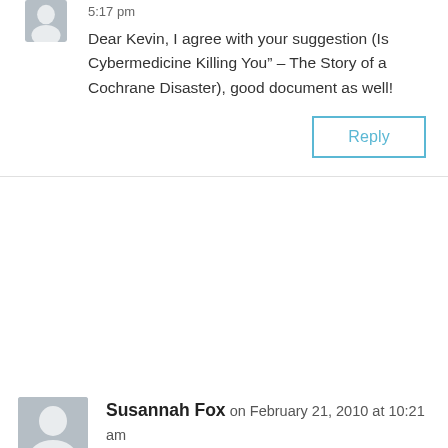5:17 pm
Dear Kevin, I agree with your suggestion (Is Cybermedicine Killing You” – The Story of a Cochrane Disaster), good document as well!
Reply
Susannah Fox on February 21, 2010 at 10:21 am
I uploaded my crib notes from Thursday’s lecture:
http://www.pewinternet.org/Presentations/2010/Feb/Media–Medicine-in-Modern-America.aspx
I riffed a bit about some of the issues raised in the comments above, but didn’t get those